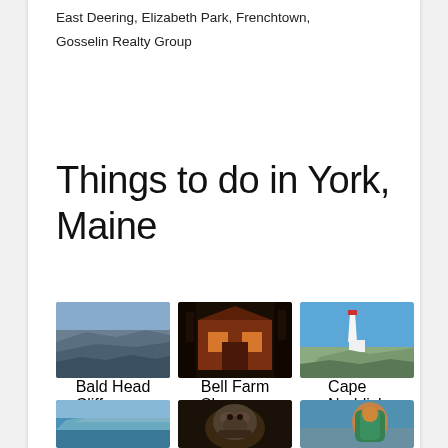East Deering, Elizabeth Park, Frenchtown,
Gosselin Realty Group
Things to do in York, Maine
[Figure (photo): Bald Head Cliff - rocky coastal cliff with ocean]
[Figure (photo): Bell Farm Shops - illuminated barn building at night]
[Figure (photo): Cape Neddick - lighthouse on rocky coast]
[Figure (photo): Island view from water]
[Figure (photo): Animal close-up]
[Figure (photo): Person in teal vest outdoors]
Bald Head Cliff
Bell Farm Shops
Cape Neddick